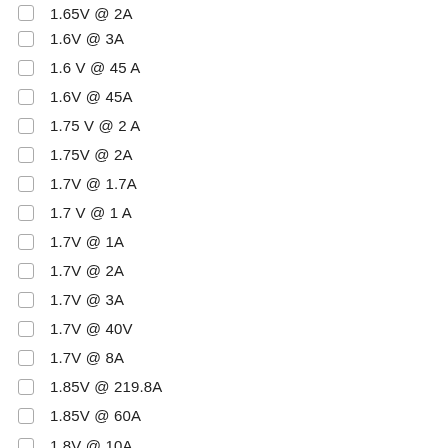1.65V @ 2A
1.6V @ 3A
1.6 V @ 45 A
1.6V @ 45A
1.75 V @ 2 A
1.75V @ 2A
1.7V @ 1.7A
1.7 V @ 1 A
1.7V @ 1A
1.7V @ 2A
1.7V @ 3A
1.7V @ 40V
1.7V @ 8A
1.85V @ 219.8A
1.85V @ 60A
1.8V @ 10A